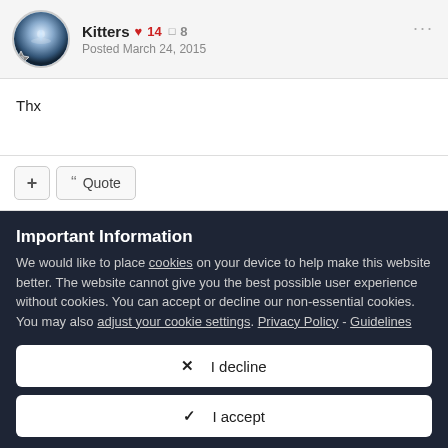Kitters ♥ 14 □ 8  Posted March 24, 2015
Thx
+ Quote
Important Information
We would like to place cookies on your device to help make this website better. The website cannot give you the best possible user experience without cookies. You can accept or decline our non-essential cookies. You may also adjust your cookie settings. Privacy Policy - Guidelines
✕  I decline
✓  I accept